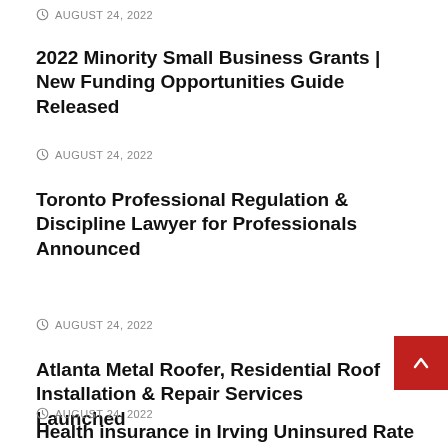AUGUST 24, 2022
2022 Minority Small Business Grants | New Funding Opportunities Guide Released
AUGUST 24, 2022
Toronto Professional Regulation & Discipline Lawyer for Professionals Announced
AUGUST 24, 2022
Atlanta Metal Roofer, Residential Roof Installation & Repair Services Launched
AUGUST 24, 2022
Health insurance in Irving Uninsured Rate